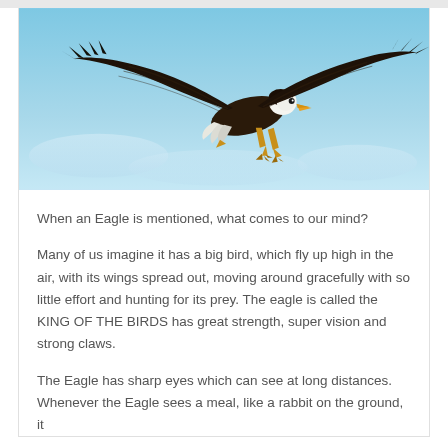[Figure (photo): A bald eagle in flight against a blue sky background, wings fully spread, soaring gracefully.]
When an Eagle is mentioned, what comes to our mind?
Many of us imagine it has a big bird, which fly up high in the air, with its wings spread out, moving around gracefully with so little effort and hunting for its prey. The eagle is called the KING OF THE BIRDS has great strength, super vision and strong claws.
The Eagle has sharp eyes which can see at long distances. Whenever the Eagle sees a meal, like a rabbit on the ground, it